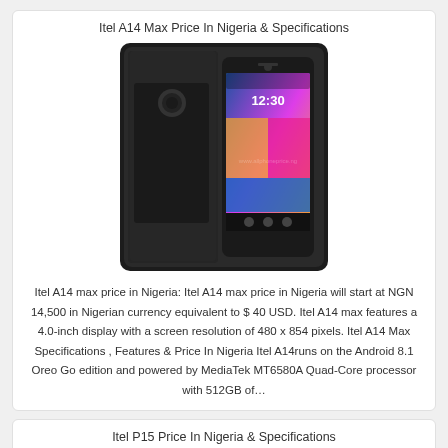Itel A14 Max Price In Nigeria & Specifications
[Figure (photo): Itel A14 Max smartphone front and back view, dark rugged body with screen showing 12:30 time, colorful wallpaper]
Itel A14 max price in Nigeria: Itel A14 max price in Nigeria will start at NGN 14,500 in Nigerian currency equivalent to $ 40 USD. Itel A14 max features a 4.0-inch display with a screen resolution of 480 x 854 pixels. Itel A14 Max Specifications , Features & Price In Nigeria Itel A14runs on the Android 8.1 Oreo Go edition and powered by MediaTek MT6580A Quad-Core processor with 512GB of…
Itel P15 Price In Nigeria & Specifications
[Figure (photo): Itel P15 smartphone showing back and front, colorful gradient wallpaper visible]